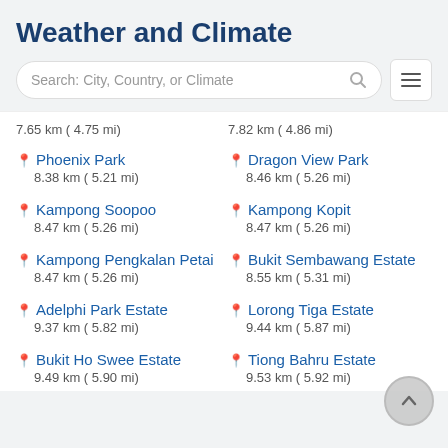Weather and Climate
Search: City, Country, or Climate
7.65 km ( 4.75 mi)
7.82 km ( 4.86 mi)
Phoenix Park
8.38 km ( 5.21 mi)
Dragon View Park
8.46 km ( 5.26 mi)
Kampong Soopoo
8.47 km ( 5.26 mi)
Kampong Kopit
8.47 km ( 5.26 mi)
Kampong Pengkalan Petai
8.47 km ( 5.26 mi)
Bukit Sembawang Estate
8.55 km ( 5.31 mi)
Adelphi Park Estate
9.37 km ( 5.82 mi)
Lorong Tiga Estate
9.44 km ( 5.87 mi)
Bukit Ho Swee Estate
9.49 km ( 5.90 mi)
Tiong Bahru Estate
9.53 km ( 5.92 mi)